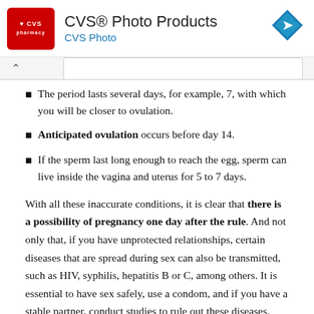[Figure (logo): CVS Pharmacy advertisement banner with red CVS logo, title 'CVS® Photo Products', subtitle 'CVS Photo', and blue navigation diamond icon]
The period lasts several days, for example, 7, with which you will be closer to ovulation.
Anticipated ovulation occurs before day 14.
If the sperm last long enough to reach the egg, sperm can live inside the vagina and uterus for 5 to 7 days.
With all these inaccurate conditions, it is clear that there is a possibility of pregnancy one day after the rule. And not only that, if you have unprotected relationships, certain diseases that are spread during sex can also be transmitted, such as HIV, syphilis, hepatitis B or C, among others. It is essential to have sex safely, use a condom, and if you have a stable partner, conduct studies to rule out these diseases.